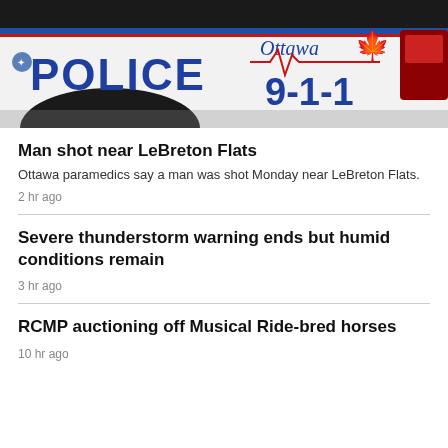[Figure (photo): Close-up photo of an Ottawa Police SUV showing 'POLICE' text and '9-1-1' with Ottawa script logo and Canadian maple leaf on a white vehicle door.]
Man shot near LeBreton Flats
Ottawa paramedics say a man was shot Monday near LeBreton Flats.
2 hr ago
Severe thunderstorm warning ends but humid conditions remain
3 hr ago
RCMP auctioning off Musical Ride-bred horses
10 hr ago